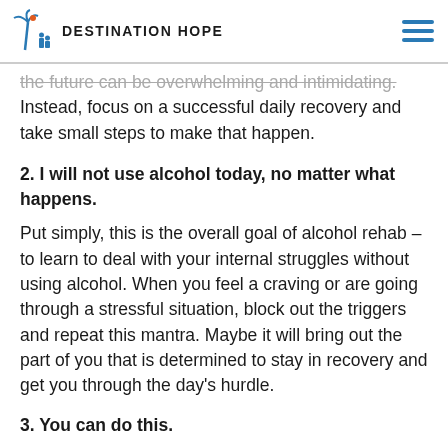DESTINATION HOPE
the future can be overwhelming and intimidating. Instead, focus on a successful daily recovery and take small steps to make that happen.
2. I will not use alcohol today, no matter what happens.
Put simply, this is the overall goal of alcohol rehab – to learn to deal with your internal struggles without using alcohol. When you feel a craving or are going through a stressful situation, block out the triggers and repeat this mantra. Maybe it will bring out the part of you that is determined to stay in recovery and get you through the day's hurdle.
3. You can do this.
If you say something often enough, you might just